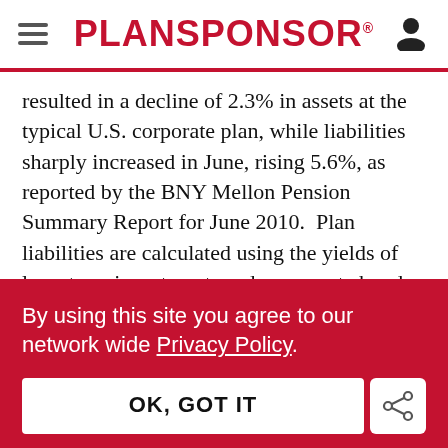PLANSPONSOR
resulted in a decline of 2.3% in assets at the typical U.S. corporate plan, while liabilities sharply increased in June, rising 5.6%, as reported by the BNY Mellon Pension Summary Report for June 2010.  Plan liabilities are calculated using the yields of long-term investment grade corporate bonds.
By using this site you agree to our network wide Privacy Policy.
OK, GOT IT